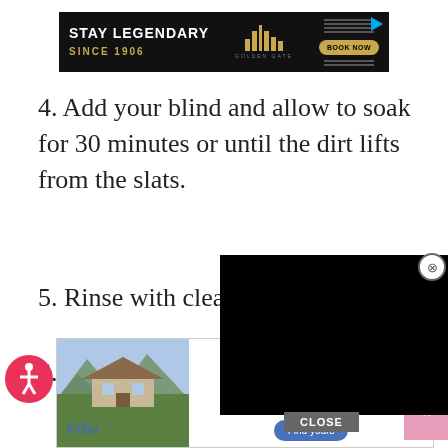[Figure (advertisement): Black banner ad: STAY LEGENDARY / SINCE 1906 / GOLDEN GATE with bar chart icon and BOOK NOW button]
4. Add your blind and allow to soak for 30 minutes or until the dirt lifts from the slats.
5. Rinse with clean w[ater]
6. Dry with a towel [or] hang outside to dr[y]
[Figure (screenshot): Black video player overlay with close (X) button and CLOSE bar below]
[Figure (advertisement): Vrbo vacation homes ad with mountain house photo and 'Vacation homes for whoever you call family' text and Find yours button]
[Figure (other): Accessibility (wheelchair) icon circle]
ov[er your] blin[ds]